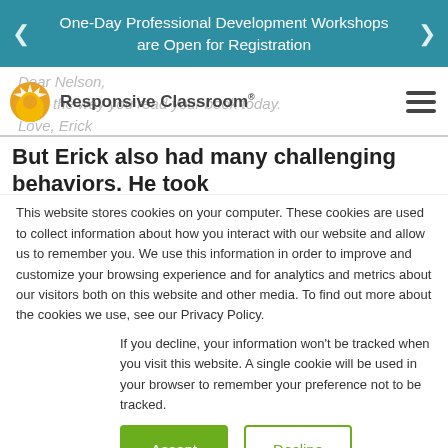One-Day Professional Development Workshops are Open for Registration
[Figure (logo): Responsive Classroom logo with sun icon]
Dear Nelson,
I like the way you read your book today.
Love, Erick
But Erick also had many challenging behaviors. He took
This website stores cookies on your computer. These cookies are used to collect information about how you interact with our website and allow us to remember you. We use this information in order to improve and customize your browsing experience and for analytics and metrics about our visitors both on this website and other media. To find out more about the cookies we use, see our Privacy Policy.
If you decline, your information won't be tracked when you visit this website. A single cookie will be used in your browser to remember your preference not to be tracked.